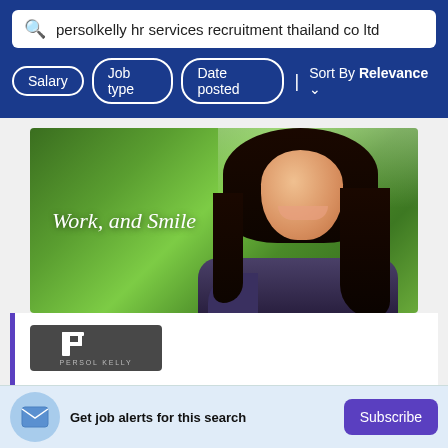persolkelly hr services recruitment thailand co ltd
Salary | Job type | Date posted | Sort By Relevance
[Figure (photo): Banner photo of a smiling Asian woman outdoors in a green park setting with text 'Work, and Smile' overlaid on the left side]
[Figure (logo): PERSOL KELLY company logo on dark grey background]
**URGENT** PHP Developer (Laravel) - BTS
Get job alerts for this search
Subscribe